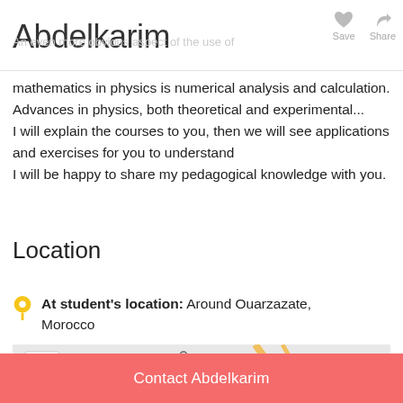Abdelkarim
An even more obvious aspect of the use of mathematics in physics is numerical analysis and calculation. Advances in physics, both theoretical and experimental...
I will explain the courses to you, then we will see applications and exercises for you to understand
I will be happy to share my pedagogical knowledge with you.
Location
At student's location: Around Ouarzazate, Morocco
[Figure (map): Map showing location around Ouarzazate, Morocco with zoom controls (+/-)]
Contact Abdelkarim